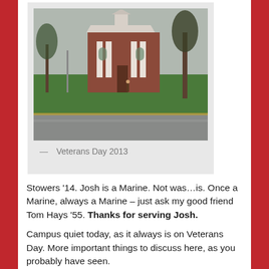[Figure (photo): Photograph of a brick collegiate building with white columns and a cupola, surrounded by green lawn and bare trees, taken on a gray overcast day.]
— Veterans Day 2013
Stowers '14. Josh is a Marine. Not was…is. Once a Marine, always a Marine – just ask my good friend Tom Hays '55. Thanks for serving Josh.
Campus quiet today, as it always is on Veterans Day. More important things to discuss here, as you probably have seen.
Young men learning…getting ready to go out and